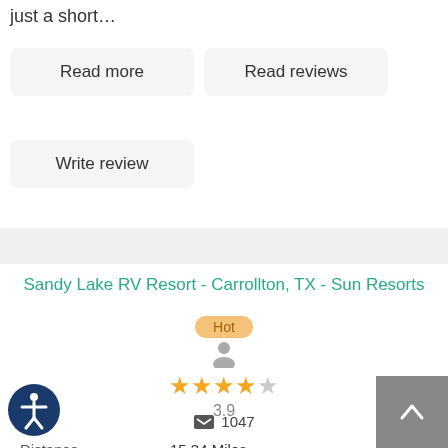just a short…
Read more
Read reviews
Write review
Sandy Lake RV Resort - Carrollton, TX - Sun Resorts
Hot
[Figure (other): Person icon above star rating]
3.9
1047
| Label | Value |
| --- | --- |
| Distance | 15.34 Miles |
| ess | 1915 Sandy Lake Road |
| City | Carrollton |